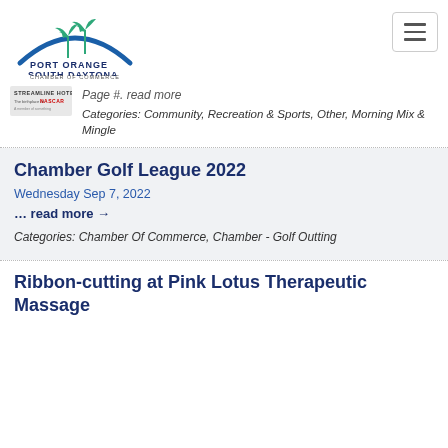[Figure (logo): Port Orange South Daytona Chamber of Commerce logo with palm trees and arch]
… read more →
Categories: Community, Recreation & Sports, Other, Morning Mix & Mingle
Chamber Golf League 2022
Wednesday Sep 7, 2022
… read more →
Categories: Chamber Of Commerce, Chamber - Golf Outting
Ribbon-cutting at Pink Lotus Therapeutic Massage